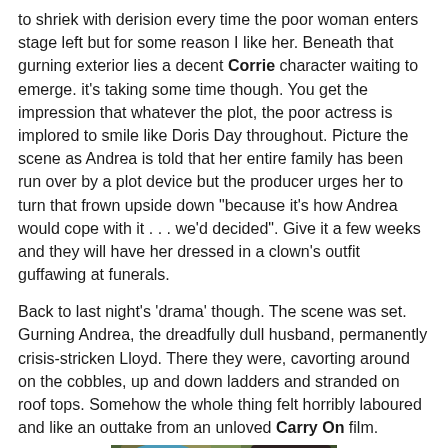to shriek with derision every time the poor woman enters stage left but for some reason I like her. Beneath that gurning exterior lies a decent Corrie character waiting to emerge. it's taking some time though. You get the impression that whatever the plot, the poor actress is implored to smile like Doris Day throughout. Picture the scene as Andrea is told that her entire family has been run over by a plot device but the producer urges her to turn that frown upside down "because it's how Andrea would cope with it . . . we'd decided". Give it a few weeks and they will have her dressed in a clown's outfit guffawing at funerals.
Back to last night's 'drama' though. The scene was set. Gurning Andrea, the dreadfully dull husband, permanently crisis-stricken Lloyd. There they were, cavorting around on the cobbles, up and down ladders and stranded on roof tops. Somehow the whole thing felt horribly laboured and like an outtake from an unloved Carry On film.
[Figure (photo): Photo of two people, one wearing a colorful hat on the left and one with a surprised expression on the right, appearing to be from a comedy show or film set.]